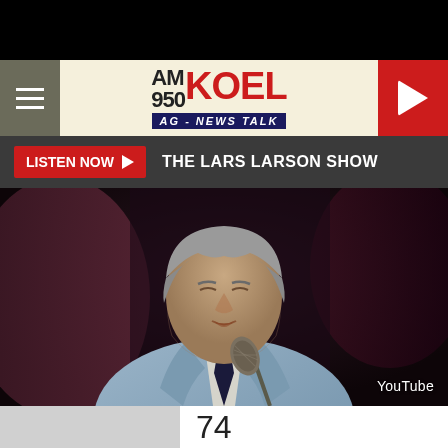[Figure (screenshot): AM 950 KOEL AG-News Talk radio station website screenshot showing header with hamburger menu, station logo, play button, Listen Now bar with The Lars Larson Show text, and an embedded YouTube video of an older man in a light blue suit singing into a microphone]
74
YouTube